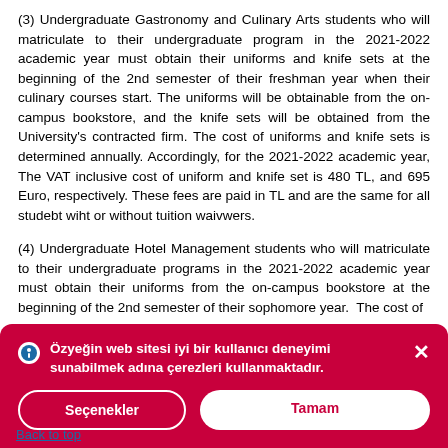(3) Undergraduate Gastronomy and Culinary Arts students who will matriculate to their undergraduate program in the 2021-2022 academic year must obtain their uniforms and knife sets at the beginning of the 2nd semester of their freshman year when their culinary courses start. The uniforms will be obtainable from the on-campus bookstore, and the knife sets will be obtained from the University's contracted firm. The cost of uniforms and knife sets is determined annually. Accordingly, for the 2021-2022 academic year, The VAT inclusive cost of uniform and knife set is 480 TL, and 695 Euro, respectively. These fees are paid in TL and are the same for all studebt wiht or without tuition waivwers.
(4) Undergraduate Hotel Management students who will matriculate to their undergraduate programs in the 2021-2022 academic year must obtain their uniforms from the on-campus bookstore at the beginning of the 2nd semester of their sophomore year. The cost of
Özyeğin web sitesi iyi bir kullanıcı deneyimi sunabilmek adına çerezleri kullanmaktadır.
Seçenekler
Tamam
Back to top